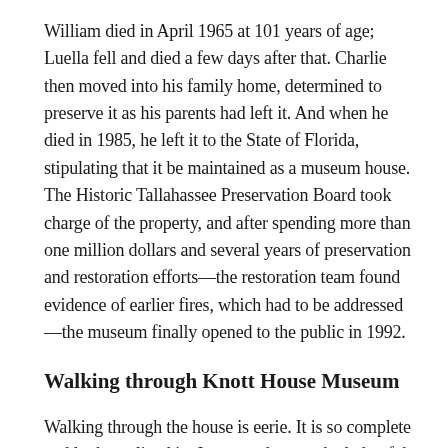William died in April 1965 at 101 years of age; Luella fell and died a few days after that. Charlie then moved into his family home, determined to preserve it as his parents had left it. And when he died in 1985, he left it to the State of Florida, stipulating that it be maintained as a museum house. The Historic Tallahassee Preservation Board took charge of the property, and after spending more than one million dollars and several years of preservation and restoration efforts—the restoration team found evidence of earlier fires, which had to be addressed—the museum finally opened to the public in 1992.
Walking through Knott House Museum
Walking through the house is eerie. It is so complete and looks so lived in, I expected to see the lady of the house, Mrs. Knott, around every corner and in every room. There are four thousand books, three hundred pieces of furniture,